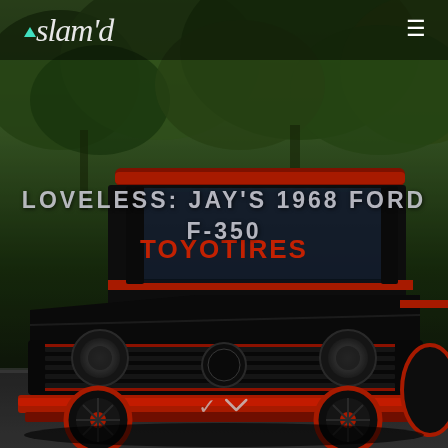[Figure (photo): Full-page hero image of a black and red customized 1968 Ford F-350 truck lowrider with Toyo Tires windshield decal, photographed against a green tree backdrop. The truck is slammed low to the ground with red-accented wheels and custom front grille.]
slamd
LOVELESS: JAY'S 1968 FORD F-350